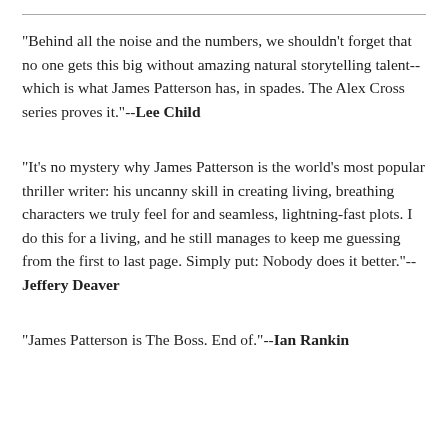"Behind all the noise and the numbers, we shouldn't forget that no one gets this big without amazing natural storytelling talent--which is what James Patterson has, in spades. The Alex Cross series proves it."--Lee Child
"It's no mystery why James Patterson is the world's most popular thriller writer: his uncanny skill in creating living, breathing characters we truly feel for and seamless, lightning-fast plots. I do this for a living, and he still manages to keep me guessing from the first to last page. Simply put: Nobody does it better."--Jeffery Deaver
"James Patterson is The Boss. End of."--Ian Rankin